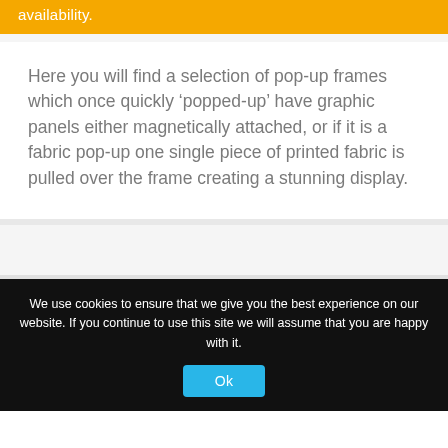availability.
Here you will find a selection of pop-up frames which once quickly ‘popped-up’ have graphic panels either magnetically attached, or if it is a fabric pop-up one single piece of printed fabric is pulled over the frame creating a stunning display.
We use cookies to ensure that we give you the best experience on our website. If you continue to use this site we will assume that you are happy with it.